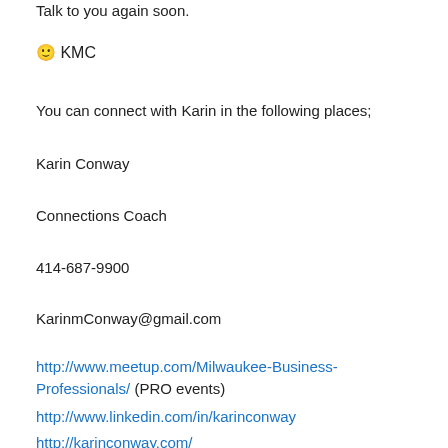Talk to you again soon.
🙂 KMC
You can connect with Karin in the following places;
Karin Conway
Connections Coach
414-687-9900
KarinmConway@gmail.com
http://www.meetup.com/Milwaukee-Business-Professionals/ (PRO events)
http://www.linkedin.com/in/karinconway
http://karinconway.com/